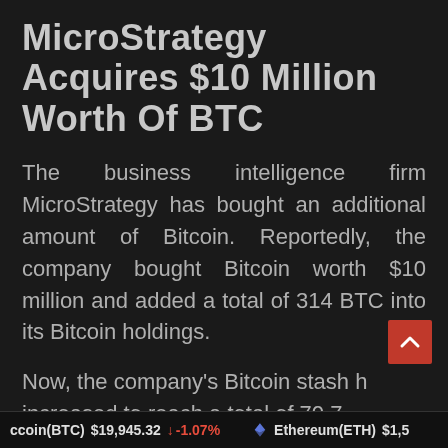MicroStrategy Acquires $10 Million Worth Of BTC
The business intelligence firm MicroStrategy has bought an additional amount of Bitcoin. Reportedly, the company bought Bitcoin worth $10 million and added a total of 314 BTC into its Bitcoin holdings.
Now, the company's Bitcoin stash has increased to reach a total of 70,784
Bitcoin(BTC) $19,945.32 ↓ -1.07% Ethereum(ETH) $1,5...